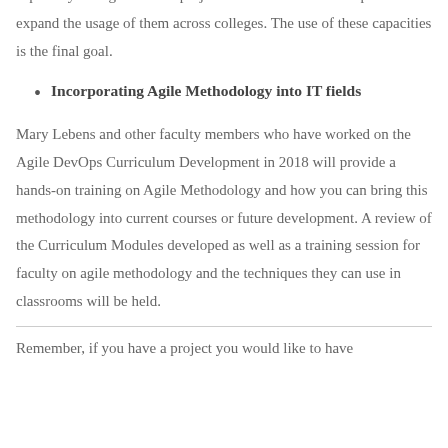capability. The goal of this project is to take our current options and expand the usage of them across colleges. The use of these capacities is the final goal.
Incorporating Agile Methodology into IT fields
Mary Lebens and other faculty members who have worked on the Agile DevOps Curriculum Development in 2018 will provide a hands-on training on Agile Methodology and how you can bring this methodology into current courses or future development. A review of the Curriculum Modules developed as well as a training session for faculty on agile methodology and the techniques they can use in classrooms will be held.
Remember, if you have a project you would like to have